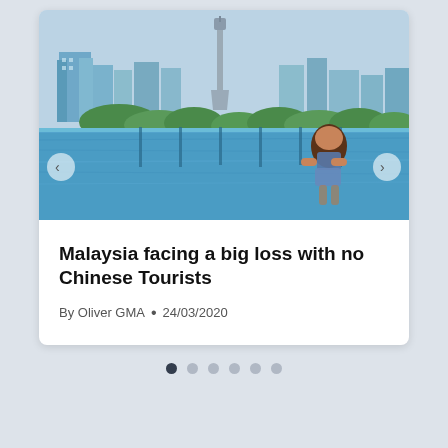[Figure (photo): An infinity pool overlooking the Kuala Lumpur skyline including the KL Tower, with a woman in a swimsuit standing in the pool facing the city view, blue water, and cloudy sky.]
Malaysia facing a big loss with no Chinese Tourists
By Oliver GMA • 24/03/2020